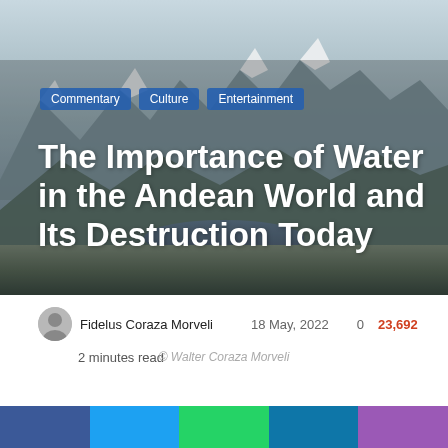[Figure (photo): Mountain landscape with snow-capped peaks, rocky terrain, and a lake in the Andean region. Photo credit: Walter Coraza Morveli.]
The Importance of Water in the Andean World and Its Destruction Today
Fidelus Coraza Morveli   18 May, 2022   0   23,692
2 minutes read
© Walter Coraza Morveli